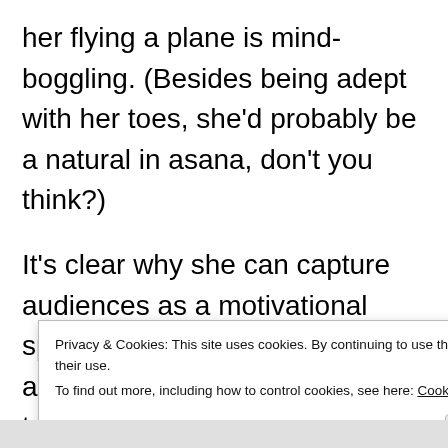her flying a plane is mind-boggling. (Besides being adept with her toes, she'd probably be a natural in asana, don't you think?)
It's clear why she can capture audiences as a motivational speaker. She has zero self-pity and instead creates adaptations to function as effectively (or more so) as the rest of us. Watching her interviews and reading her
Privacy & Cookies: This site uses cookies. By continuing to use this website, you agree to their use.
To find out more, including how to control cookies, see here: Cookie Policy
[Close and accept]